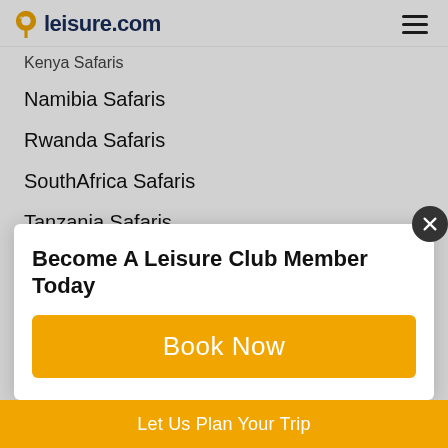leisure.com
Kenya Safaris
Namibia Safaris
Rwanda Safaris
SouthAfrica Safaris
Tanzania Safaris
Uganda Safaris
Zambia Safaris
Zimbabwe Safaris
European Vacation Packages
Become A Leisure Club Member Today
Book Now
Let Us Plan Your Trip